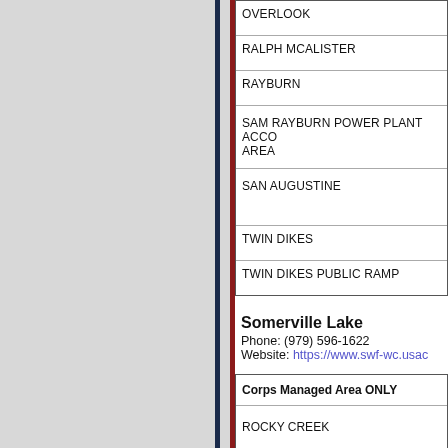| OVERLOOK |
| RALPH MCALISTER |
| RAYBURN |
| SAM RAYBURN POWER PLANT ACCESS AREA |
| SAN AUGUSTINE |
| TWIN DIKES |
| TWIN DIKES PUBLIC RAMP |
Somerville Lake
Phone: (979) 596-1622
Website: https://www.swf-wc.usac...
| Corps Managed Area ONLY |
| --- |
| ROCKY CREEK |
| VISITORS OVERLOOK |